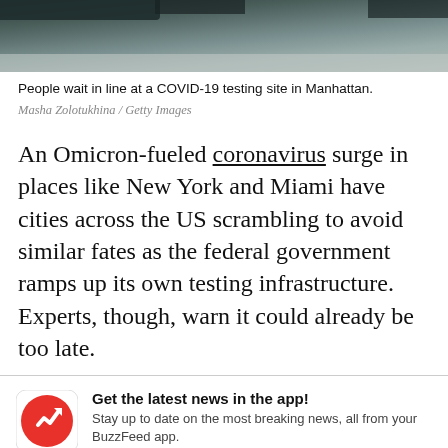[Figure (photo): Photo of people waiting in line at a COVID-19 testing site in Manhattan, showing vehicles and pavement in muted grays and greens.]
People wait in line at a COVID-19 testing site in Manhattan.
Masha Zolotukhina / Getty Images
An Omicron-fueled coronavirus surge in places like New York and Miami have cities across the US scrambling to avoid similar fates as the federal government ramps up its own testing infrastructure. Experts, though, warn it could already be too late.
Get the latest news in the app! Stay up to date on the most breaking news, all from your BuzzFeed app.
Maybe later
Get the app